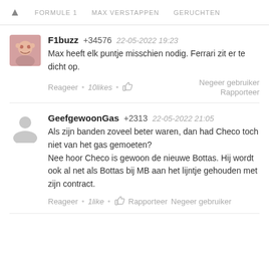🏠  FORMULE 1   MAX VERSTAPPEN   GERUCHTEN
F1buzz +34576   22-05-2022 19:23
Max heeft elk puntje misschien nodig. Ferrari zit er te dicht op.
Reageer · 10likes · 👍   Negeer gebruiker
Rapporteer
GeefgewoonGas +2313   22-05-2022 21:05
Als zijn banden zoveel beter waren, dan had Checo toch niet van het gas gemoeten?
Nee hoor Checo is gewoon de nieuwe Bottas. Hij wordt ook al net als Bottas bij MB aan het lijntje gehouden met zijn contract.
Reageer · 1like · 👍 Rapporteer Negeer gebruiker